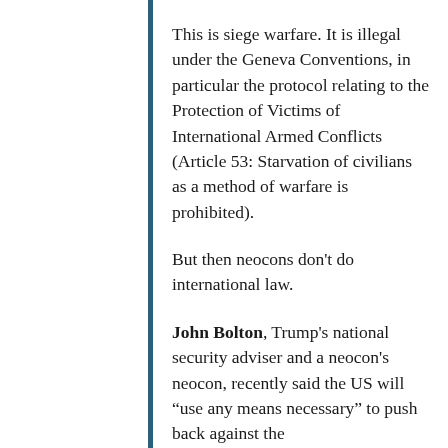This is siege warfare. It is illegal under the Geneva Conventions, in particular the protocol relating to the Protection of Victims of International Armed Conflicts (Article 53: Starvation of civilians as a method of warfare is prohibited).
But then neocons don't do international law.
John Bolton, Trump's national security adviser and a neocon's neocon, recently said the US will “use any means necessary” to push back against the